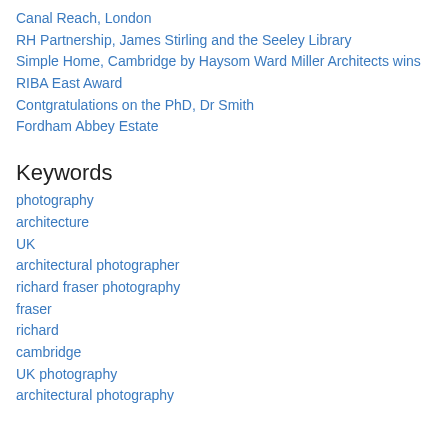Canal Reach, London
RH Partnership, James Stirling and the Seeley Library
Simple Home, Cambridge by Haysom Ward Miller Architects wins RIBA East Award
Contgratulations on the PhD, Dr Smith
Fordham Abbey Estate
Keywords
photography
architecture
UK
architectural photographer
richard fraser photography
fraser
richard
cambridge
UK photography
architectural photography